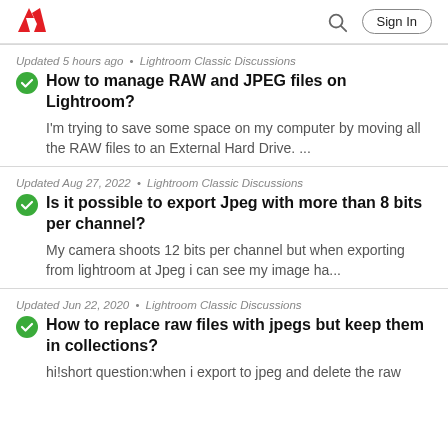Adobe | Sign In
Updated 5 hours ago • Lightroom Classic Discussions
How to manage RAW and JPEG files on Lightroom?
I'm trying to save some space on my computer by moving all the RAW files to an External Hard Drive. ...
Updated Aug 27, 2022 • Lightroom Classic Discussions
Is it possible to export Jpeg with more than 8 bits per channel?
My camera shoots 12 bits per channel but when exporting from lightroom at Jpeg i can see my image ha...
Updated Jun 22, 2020 • Lightroom Classic Discussions
How to replace raw files with jpegs but keep them in collections?
hi!short question:when i export to jpeg and delete the raw